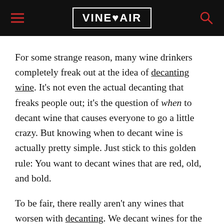VinePair
For some strange reason, many wine drinkers completely freak out at the idea of decanting wine. It’s not even the actual decanting that freaks people out; it’s the question of when to decant wine that causes everyone to go a little crazy. But knowing when to decant wine is actually pretty simple. Just stick to this golden rule: You want to decant wines that are red, old, and bold.
To be fair, there really aren’t any wines that worsen with decanting. We decant wines for the purpose of